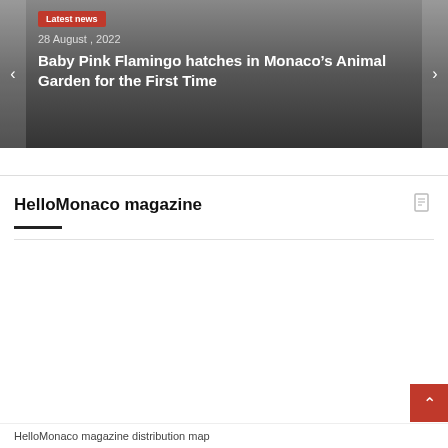[Figure (screenshot): News banner slider with dark gradient background, navigation arrows on left and right, showing a 'Latest news' red badge, date '28 August, 2022', and headline 'Baby Pink Flamingo hatches in Monaco's Animal Garden for the First Time']
28 August , 2022
Baby Pink Flamingo hatches in Monaco’s Animal Garden for the First Time
HelloMonaco magazine
HelloMonaco magazine distribution map